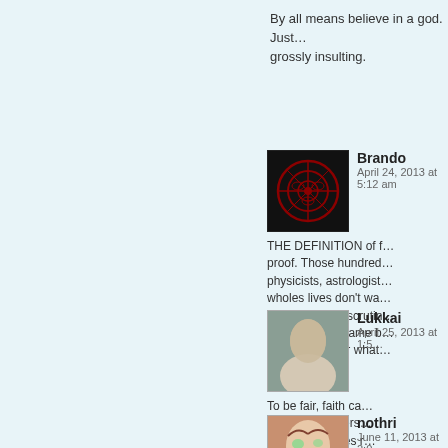By all means believe in a god. Just... grossly insulting.
Brando
April 24, 2013 at 5:12 am
THE DEFINITION of f... proof. Those hundred... physicists, astrologist... wholes lives don't wa... their work with scrutin... give them the same b... priest, pastor or what...
Lukkai
April 25, 2013 at 1:5...
To be fair, faith ca... in trust(ing a pers... the people" goes r...
nothri
June 11, 2013 at 2:0...
Uhh, science gets... year as new disco...